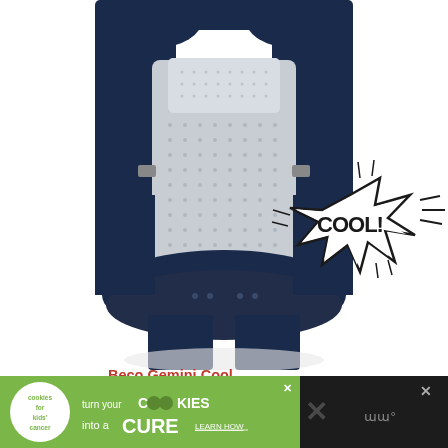[Figure (photo): A navy blue Beco Gemini Cool baby carrier with mesh fabric panel, shown front-facing. A comic-book style 'COOL!' burst graphic is overlaid on the lower right of the carrier.]
Beco Gemini Cool
[Figure (infographic): Advertisement placeholder with 'ADVERTISEMENT' label in light gray text on white/light background]
[Figure (infographic): Bottom banner advertisement: cookies for kids cancer - 'turn your COOKIES into a CURE LEARN HOW' on green background. Black section on right with close X button.]